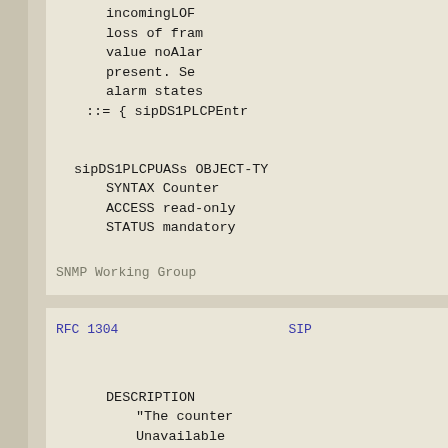incomingLOF
 loss of fram
 value noAlar
 present. Se
 alarm states
 ::= { sipDS1PLCPEntr
sipDS1PLCPUASs OBJECT-TY
    SYNTAX   Counter
    ACCESS   read-only
    STATUS   mandatory
SNMP Working Group
RFC 1304                                        SIP
DESCRIPTION
             "The counter
              Unavailable